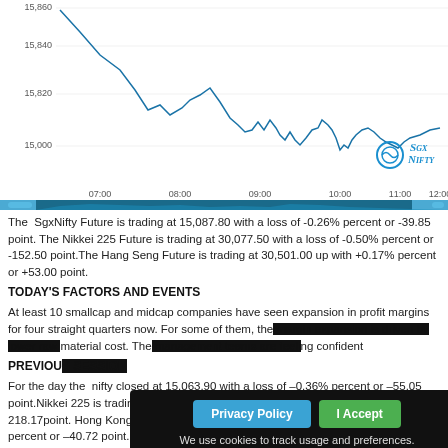[Figure (continuous-plot): SGX Nifty line chart showing price movement from 07:00 to 12:00, with y-axis values around 15,000–15,860. The SGX Nifty logo appears in the lower right of the chart area. A scrollbar-style time navigator appears below the main chart.]
The SgxNifty Future is trading at 15,087.80 with a loss of -0.26% percent or -39.85 point. The Nikkei 225 Future is trading at 30,077.50 with a loss of -0.50% percent or -152.50 point.The Hang Seng Future is trading at 30,501.00 up with +0.17% percent or +53.00 point.
TODAY'S FACTORS AND EVENTS
At least 10 smallcap and midcap companies have seen expansion in profit margins for four straight quarters now. For some of them, the [obscured] material cost. The [obscured] ng confident
PREVIOUS [obscured]
For the day the nifty closed at 15,063.90 with a loss of –0.36% percent or –55.05 point.Nikkei 225 is trading at 30,017.92 with a loss of –0.72% percent or –218.17point. Hong Kong's Hang Seng is trading at 30,554.55 with a loss of –0.13% percent or –40.72 point.
WORLD MARKETS
For the day the Dow is trading at 31,613.02 up with +0.29%